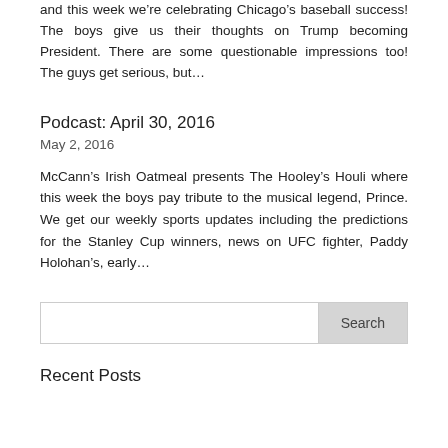and this week we're celebrating Chicago's baseball success! The boys give us their thoughts on Trump becoming President. There are some questionable impressions too! The guys get serious, but…
Podcast: April 30, 2016
May 2, 2016
McCann's Irish Oatmeal presents The Hooley's Houli where this week the boys pay tribute to the musical legend, Prince. We get our weekly sports updates including the predictions for the Stanley Cup winners, news on UFC fighter, Paddy Holohan's, early…
Recent Posts